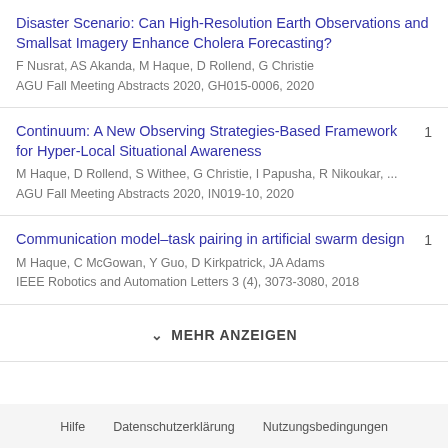Disaster Scenario: Can High-Resolution Earth Observations and Smallsat Imagery Enhance Cholera Forecasting?
F Nusrat, AS Akanda, M Haque, D Rollend, G Christie
AGU Fall Meeting Abstracts 2020, GH015-0006, 2020
Continuum: A New Observing Strategies-Based Framework for Hyper-Local Situational Awareness
M Haque, D Rollend, S Withee, G Christie, I Papusha, R Nikoukar, ...
AGU Fall Meeting Abstracts 2020, IN019-10, 2020
Communication model–task pairing in artificial swarm design
M Haque, C McGowan, Y Guo, D Kirkpatrick, JA Adams
IEEE Robotics and Automation Letters 3 (4), 3073-3080, 2018
MEHR ANZEIGEN
Hilfe   Datenschutzerklärung   Nutzungsbedingungen